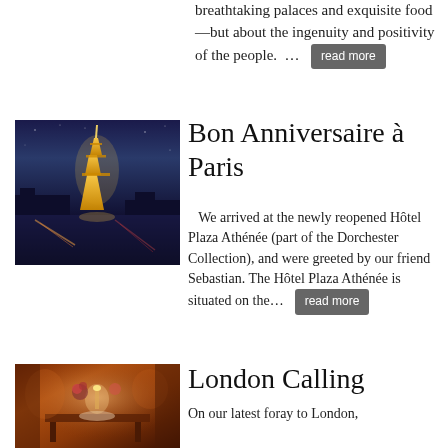breathtaking palaces and exquisite food—but about the ingenuity and positivity of the people.  ...  read more
[Figure (photo): Night photo of the Eiffel Tower illuminated in gold against a dark blue sky, with light trails from traffic below]
Bon Anniversaire à Paris
We arrived at the newly reopened Hôtel Plaza Athénée (part of the Dorchester Collection), and were greeted by our friend Sebastian. The Hôtel Plaza Athénée is situated on the...  read more
[Figure (photo): Interior of an elegant restaurant with warm lighting, table settings, and floral decorations]
London Calling
On our latest foray to London,